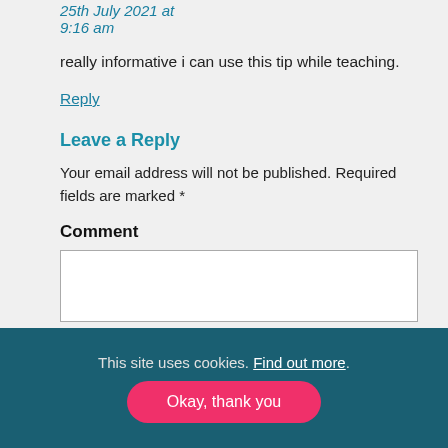25th July 2021 at 9:16 am
really informative i can use this tip while teaching.
Reply
Leave a Reply
Your email address will not be published. Required fields are marked *
Comment
This site uses cookies. Find out more.
Okay, thank you